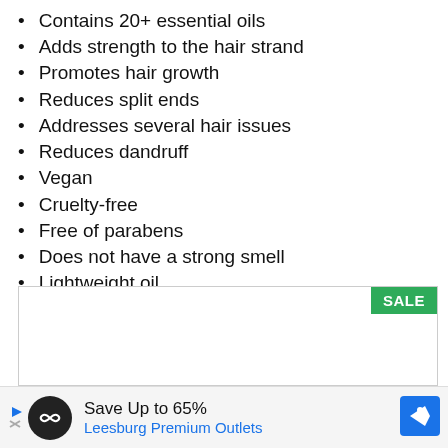Contains 20+ essential oils
Adds strength to the hair strand
Promotes hair growth
Reduces split ends
Addresses several hair issues
Reduces dandruff
Vegan
Cruelty-free
Free of parabens
Does not have a strong smell
Lightweight oil
Tames frizzy hair
[Figure (other): Advertisement box with SALE tag in green]
Save Up to 65% Leesburg Premium Outlets